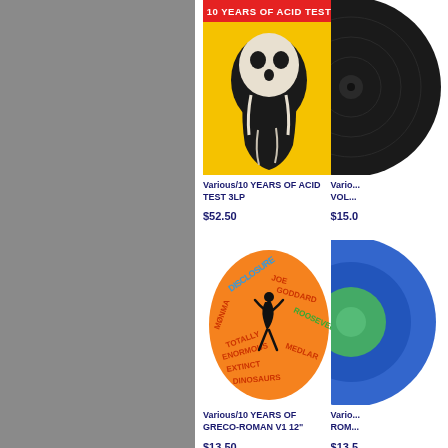[Figure (illustration): Album cover for Various/10 YEARS OF ACID TEST 3LP — yellow background with black and white illustration of a melting skull-like figure, red text '10 YEARS OF ACID TEST' at top]
Various/10 YEARS OF ACID TEST 3LP
$52.50
[Figure (illustration): Partial album cover, dark vinyl record visible on right edge]
Vario... VOL...
$15.00
[Figure (illustration): Album cover for Various/10 YEARS OF GRECO-ROMAN V1 12" — orange oval with colorful psychedelic text listing artists: Disclosure, Joe Goddard, Mønma, Roosevelt, Totally Enormous Extinct Dinosaurs, Medlar]
Various/10 YEARS OF GRECO-ROMAN V1 12"
$13.50
[Figure (illustration): Partial album cover visible on right — blue/green circular design]
Vario... ROM...
$13.50